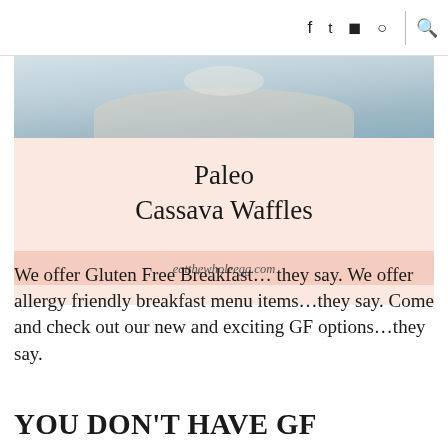f  t  (instagram)  (pinterest)  |  (search)
[Figure (photo): Top portion of a food photo showing waffles on a plate, partially visible, with a pink card below showing the recipe title 'Paleo Cassava Waffles' and a URL band showing eatthewholeegg.com]
We offer Gluten Free Breakfast… they say. We offer allergy friendly breakfast menu items…they say. Come and check out our new and exciting GF options…they say.
YOU DON'T HAVE GF